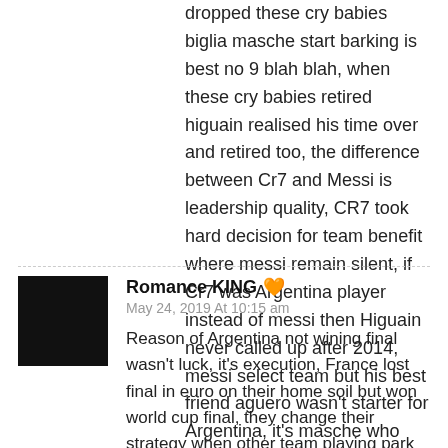dropped these cry babies biglia masche start barking is best no 9 blah blah, when these cry babies retired higuain realised his time over and retired too, the difference between Cr7 and Messi is leadership quality, CR7 took hard decision for team benefit where messi remain silent, if Cr7 was Argentina player instead of messi then Higuain never called up after 2014, messi select team but his best friend aguero wasn't starter for Argentina, it's masche who was the real politician on the mask of messi name.
Romance KING ❤️
May 24, 2019 At 10:15 am
Reason of Argentina not wining final wasn't luck, it's execution, France lost final in euro on their home soil but won world cup final, they change their strategy when other team playing park the bus